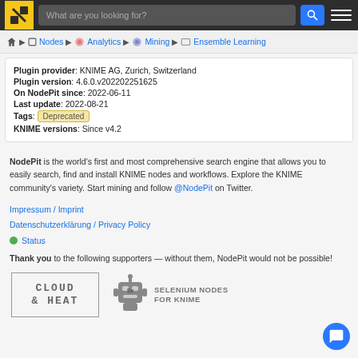What are you looking for? [search bar]
Nodes ▶ Analytics ▶ Mining ▶ Ensemble Learning
Plugin provider: KNIME AG, Zurich, Switzerland
Plugin version: 4.6.0.v202202251625
On NodePit since: 2022-06-11
Last update: 2022-08-21
Tags: Deprecated
KNIME versions: Since v4.2
NodePit is the world's first and most comprehensive search engine that allows you to easily search, find and install KNIME nodes and workflows. Explore the KNIME community's variety. Start mining and follow @NodePit on Twitter.
Impressum / Imprint
Datenschutzerklärung / Privacy Policy
Status
Thank you to the following supporters — without them, NodePit would not be possible!
[Figure (logo): Cloud & Heat sponsor logo (bordered text logo)]
[Figure (logo): Selenium Nodes for KNIME sponsor logo (robot icon + text)]